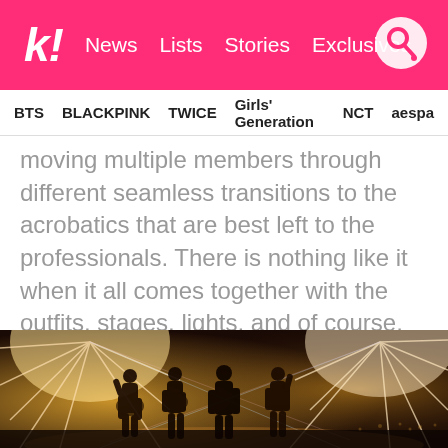k! News Lists Stories Exclusives
BTS BLACKPINK TWICE Girls' Generation NCT aespa
moving multiple members through different seamless transitions to the acrobatics that are best left to the professionals. There is nothing like it when it all comes together with the outfits, stages, lights, and of course, the talent.
[Figure (photo): Four female K-pop performers silhouetted on a concert stage with dramatic star-burst light rays behind them]